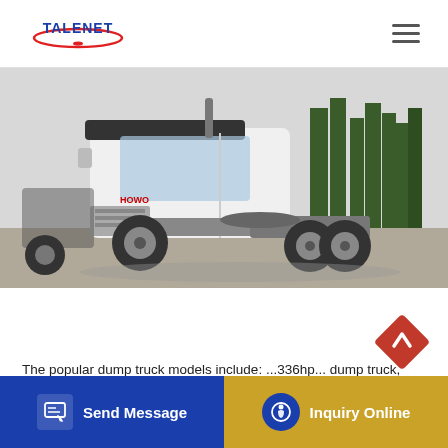TALENET
[Figure (photo): White SINOTRUK HOWO 6x4 tractor truck / semi-truck parked in a yard with trees in the background]
The popular dump truck models include: ...336hp... dump truck, sino truck 371hp ten wheeler...
[Figure (infographic): Red diamond-shaped scroll-to-top arrow button]
[Figure (infographic): Bottom navigation bar with blue 'Send Message' button on the left and gold 'Inquiry Online' button on the right]